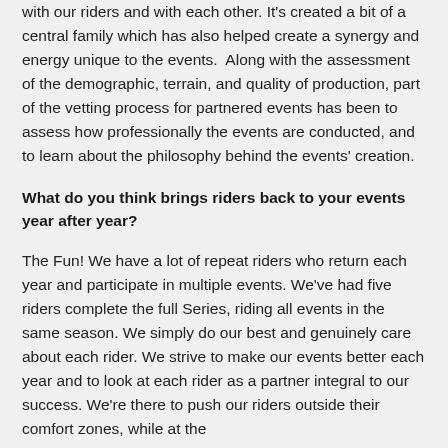with our riders and with each other. It's created a bit of a central family which has also helped create a synergy and energy unique to the events.  Along with the assessment of the demographic, terrain, and quality of production, part of the vetting process for partnered events has been to assess how professionally the events are conducted, and to learn about the philosophy behind the events' creation.
What do you think brings riders back to your events year after year?
The Fun! We have a lot of repeat riders who return each year and participate in multiple events. We've had five riders complete the full Series, riding all events in the same season. We simply do our best and genuinely care about each rider. We strive to make our events better each year and to look at each rider as a partner integral to our success. We're there to push our riders outside their comfort zones, while at the